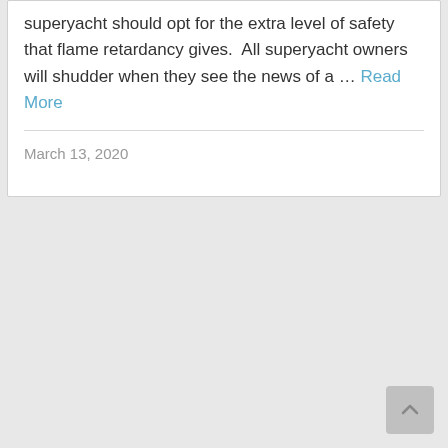superyacht should opt for the extra level of safety that flame retardancy gives.  All superyacht owners will shudder when they see the news of a … Read More
March 13, 2020